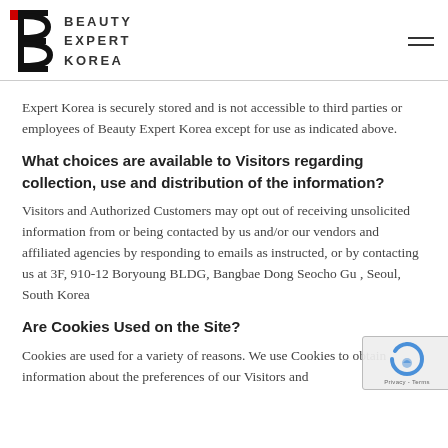Beauty Expert Korea
Expert Korea is securely stored and is not accessible to third parties or employees of Beauty Expert Korea except for use as indicated above.
What choices are available to Visitors regarding collection, use and distribution of the information?
Visitors and Authorized Customers may opt out of receiving unsolicited information from or being contacted by us and/or our vendors and affiliated agencies by responding to emails as instructed, or by contacting us at 3F, 910-12 Boryoung BLDG, Bangbae Dong Seocho Gu , Seoul, South Korea
Are Cookies Used on the Site?
Cookies are used for a variety of reasons. We use Cookies to obtain information about the preferences of our Visitors and the services they select. We use Cookies for security purposes as well as to store information…